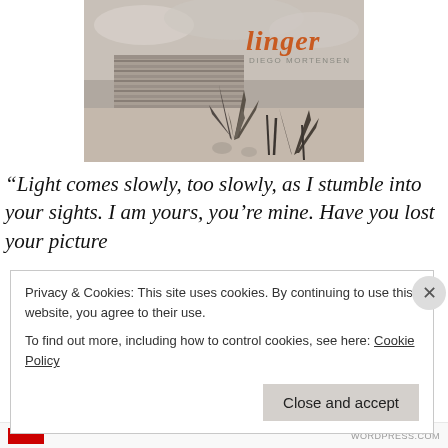[Figure (photo): Album cover for 'linger' by Diego Mortensen. Black and white photo of a desert scene with a stone wall and cacti/agave plants. The word 'linger' appears in large orange italic text, with 'Diego Mortensen' below in smaller gray text.]
“Light comes slowly, too slowly, as I stumble into your sights. I am yours, you’re mine. Have you lost your picture
Privacy & Cookies: This site uses cookies. By continuing to use this website, you agree to their use.
To find out more, including how to control cookies, see here: Cookie Policy